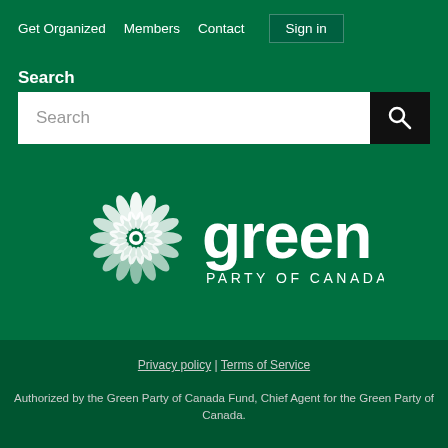Get Organized  Members  Contact  Sign in
Search
[Figure (screenshot): Search input box with magnifying glass button]
[Figure (logo): Green Party of Canada logo — white sunflower/pinwheel emblem with 'green PARTY OF CANADA' text in white on green background]
Privacy policy | Terms of Service
Authorized by the Green Party of Canada Fund, Chief Agent for the Green Party of Canada.